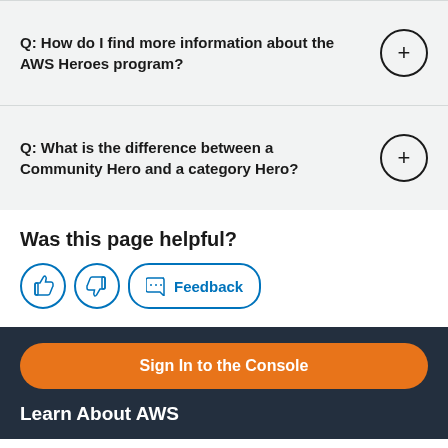Q: How do I find more information about the AWS Heroes program?
Q: What is the difference between a Community Hero and a category Hero?
Was this page helpful?
[Figure (other): Thumbs up, thumbs down, and Feedback buttons]
[Figure (other): Sign In to the Console orange button]
Learn About AWS